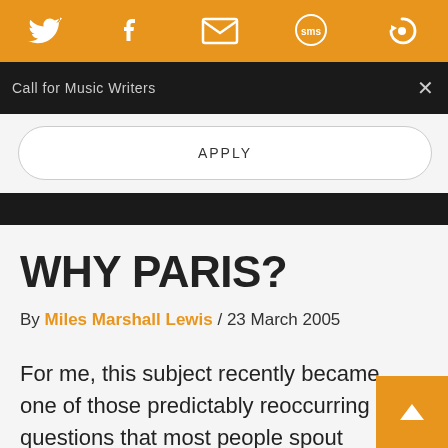Social share bar with Twitter, Facebook, Email, SMS, and another icon
Call for Music Writers
APPLY
WHY PARIS?
By Miles Marshall Lewis / 23 March 2005
For me, this subject recently became one of those predictably reoccurring questions that most people spout prepared answers to with rehearsed spontaneity. “I’m chasing the ghost of James